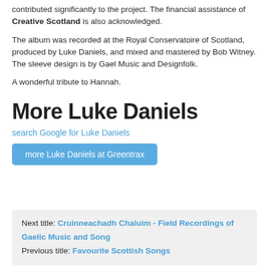contributed significantly to the project. The financial assistance of Creative Scotland is also acknowledged.
The album was recorded at the Royal Conservatoire of Scotland, produced by Luke Daniels, and mixed and mastered by Bob Witney. The sleeve design is by Gael Music and Designfolk.
A wonderful tribute to Hannah.
More Luke Daniels
search Google for Luke Daniels
more Luke Daniels at Greentrax
Next title: Cruinneachadh Chaluim - Field Recordings of Gaelic Music and Song
Previous title: Favourite Scottish Songs